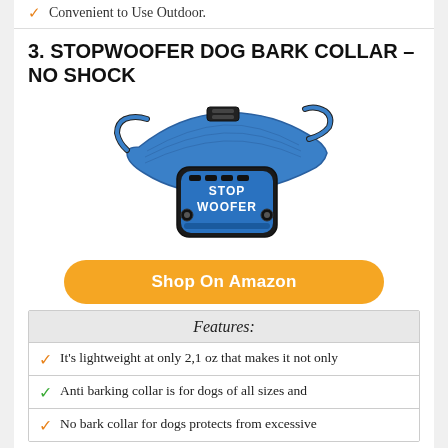Convenient to Use Outdoor.
3. STOPWOOFER DOG BARK COLLAR – NO SHOCK
[Figure (photo): Blue StopWoofer dog bark collar with black buckle and control unit, displayed on white background]
Shop On Amazon
Features:
It's lightweight at only 2,1 oz that makes it not only
Anti barking collar is for dogs of all sizes and
No bark collar for dogs protects from excessive